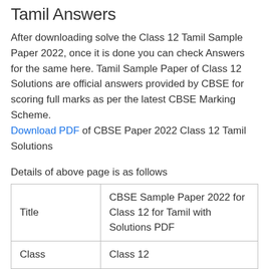Tamil Answers
After downloading solve the Class 12 Tamil Sample Paper 2022, once it is done you can check Answers for the same here. Tamil Sample Paper of Class 12 Solutions are official answers provided by CBSE for scoring full marks as per the latest CBSE Marking Scheme. Download PDF of CBSE Paper 2022 Class 12 Tamil Solutions
Details of above page is as follows
|  |  |
| --- | --- |
| Title | CBSE Sample Paper 2022 for Class 12 for Tamil with Solutions PDF |
| Class | Class 12 |